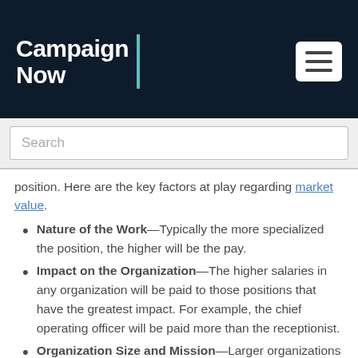Campaign Now
Search
position. Here are the key factors at play regarding market value.
Nature of the Work—Typically the more specialized the position, the higher will be the pay.
Impact on the Organization—The higher salaries in any organization will be paid to those positions that have the greatest impact. For example, the chief operating officer will be paid more than the receptionist.
Organization Size and Mission—Larger organizations can typically be expected to pay more for nearly every